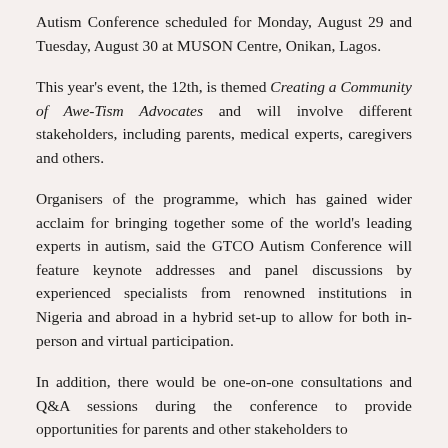Autism Conference scheduled for Monday, August 29 and Tuesday, August 30 at MUSON Centre, Onikan, Lagos.
This year's event, the 12th, is themed Creating a Community of Awe-Tism Advocates and will involve different stakeholders, including parents, medical experts, caregivers and others.
Organisers of the programme, which has gained wider acclaim for bringing together some of the world's leading experts in autism, said the GTCO Autism Conference will feature keynote addresses and panel discussions by experienced specialists from renowned institutions in Nigeria and abroad in a hybrid set-up to allow for both in-person and virtual participation.
In addition, there would be one-on-one consultations and Q&A sessions during the conference to provide opportunities for parents and other stakeholders to